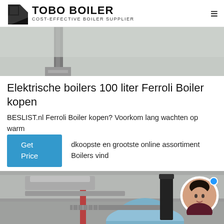TOBO BOILER — COST-EFFECTIVE BOILER SUPPLIER
[Figure (photo): Top portion of industrial boiler/pipe installation, grayish background photo]
Elektrische boilers 100 liter Ferroli Boiler kopen
BESLIST.nl Ferroli Boiler kopen? Voorkom lang wachten op warm dkoopste en grootste online assortiment Boilers vind
[Figure (photo): Industrial boiler room with large blue cylindrical boiler, red and silver pipes, and metal ductwork; WhatsApp badge overlay at bottom-left; female avatar circle at top-right]